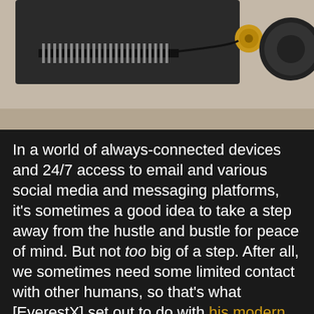[Figure (photo): Close-up photo of electronic components including what appears to be a microcontroller or circuit board with pins and connectors on a beige carpet background.]
In a world of always-connected devices and 24/7 access to email and various social media and messaging platforms, it’s sometimes a good idea to take a step away from the hustle and bustle for peace of mind. But not too big of a step. After all, we sometimes need some limited contact with other humans, so that’s what [EverestX] set out to do with his modern, pocket-sized communication device based on pager technology from days of yore
By using our website and services, you expressly agree to the placement of our performance, functionality and advertising cookies. Learn more